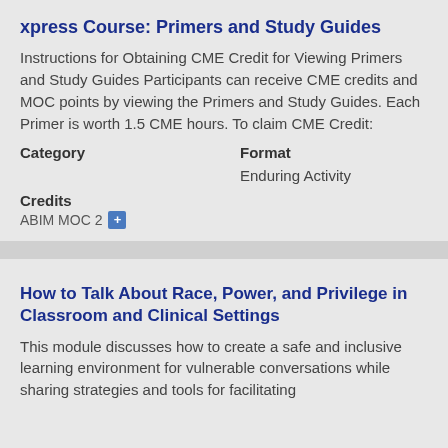xpress Course: Primers and Study Guides
Instructions for Obtaining CME Credit for Viewing Primers and Study Guides Participants can receive CME credits and MOC points by viewing the Primers and Study Guides. Each Primer is worth 1.5 CME hours. To claim CME Credit:
| Category | Format |
| --- | --- |
|  | Enduring Activity |
Credits
ABIM MOC 2
How to Talk About Race, Power, and Privilege in Classroom and Clinical Settings
This module discusses how to create a safe and inclusive learning environment for vulnerable conversations while sharing strategies and tools for facilitating